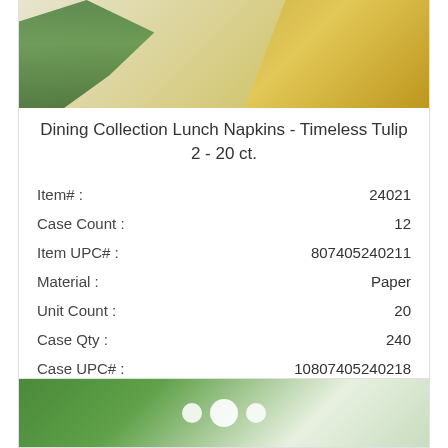[Figure (photo): Product image showing green floral stems on a beige/gold decorative background - top portion of a Timeless Tulip lunch napkin product]
Dining Collection Lunch Napkins - Timeless Tulip 2 - 20 ct.
| Item# : | 24021 |
| Case Count : | 12 |
| Item UPC# : | 807405240211 |
| Material : | Paper |
| Unit Count : | 20 |
| Case Qty : | 240 |
| Case UPC# : | 10807405240218 |
| Color : | Floral |
Login For Pricing
[Figure (photo): Bottom portion of a second product image showing white round objects on a green background]